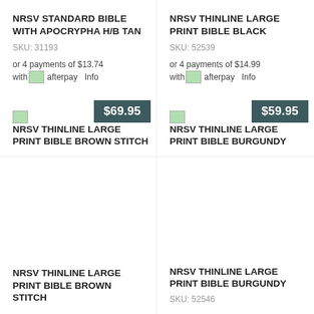NRSV STANDARD BIBLE WITH APOCRYPHA H/B TAN
SKU: 31193
or 4 payments of $13.74 with afterpay Info
$69.95
NRSV THINLINE LARGE PRINT BIBLE BLACK
SKU: 52539
or 4 payments of $14.99 with afterpay Info
$59.95
NRSV THINLINE LARGE PRINT BIBLE BROWN STITCH
NRSV THINLINE LARGE PRINT BIBLE BURGUNDY
NRSV THINLINE LARGE PRINT BIBLE BROWN STITCH
NRSV THINLINE LARGE PRINT BIBLE BURGUNDY
SKU: 52546